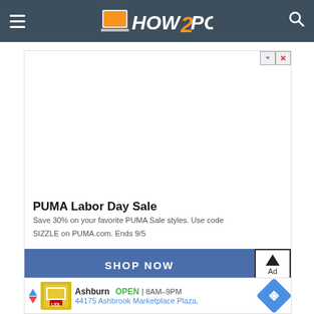HOW2PC
[Figure (screenshot): Website screenshot of How2PC with a PUMA Labor Day Sale advertisement banner showing 'SHOP NOW' button, and a bottom Lidl store ad for Ashburn location.]
PUMA Labor Day Sale
Save 30% on your favorite PUMA Sale styles. Use code SIZZLE on PUMA.com. Ends 9/5
SHOP NOW
Ashburn  OPEN  8AM–9PM  44175 Ashbrook Marketplace Plaza,